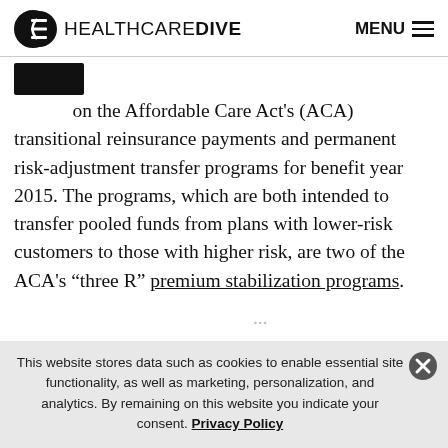HEALTHCAREDIVE  MENU
[Figure (photo): Partially visible article image, cropped at top, black rectangular thumbnail]
on the Affordable Care Act's (ACA) transitional reinsurance payments and permanent risk-adjustment transfer programs for benefit year 2015. The programs, which are both intended to transfer pooled funds from plans with lower-risk customers to those with higher risk, are two of the ACA's “three R” premium stabilization programs.
(faded/clipped text below)
This website stores data such as cookies to enable essential site functionality, as well as marketing, personalization, and analytics. By remaining on this website you indicate your consent. Privacy Policy